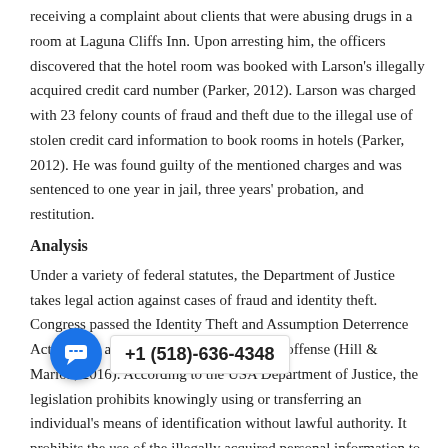receiving a complaint about clients that were abusing drugs in a room at Laguna Cliffs Inn. Upon arresting him, the officers discovered that the hotel room was booked with Larson's illegally acquired credit card number (Parker, 2012). Larson was charged with 23 felony counts of fraud and theft due to the illegal use of stolen credit card information to book rooms in hotels (Parker, 2012). He was found guilty of the mentioned charges and was sentenced to one year in jail, three years' probation, and restitution.
Analysis
Under a variety of federal statutes, the Department of Justice takes legal action against cases of fraud and identity theft. Congress passed the Identity Theft and Assumption Deterrence Act in 1998 and made identity theft a new offense (Hill & Marion, 2016). According to the USA Department of Justice, the legislation prohibits knowingly using or transferring an individual's means of identification without lawful authority. It prohibits the use of the illegally acquired personal information to aid or to abet or commit any violation that comprises of misconduct under any applicable local or state law (18 USC § 1028(a)(7)) (Hill & Marion, 2016). The Act also enabled the Federal Trade Commission to monitor consumers' complaints and provide assistance to those consumers whose identities were stolen. Failure to comply with the legislation usually results in a maximum sentence of 15 years' imprisonment, criminal forfeiture of any personal possession used or